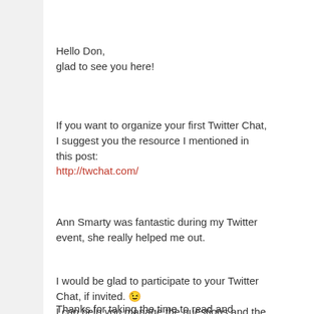Hello Don,
glad to see you here!
If you want to organize your first Twitter Chat, I suggest you the resource I mentioned in this post:
http://twchat.com/
Ann Smarty was fantastic during my Twitter event, she really helped me out.
I would be glad to participate to your Twitter Chat, if invited. 😉
I can help you manage the questions and the users.
Thanks for taking the time to read and